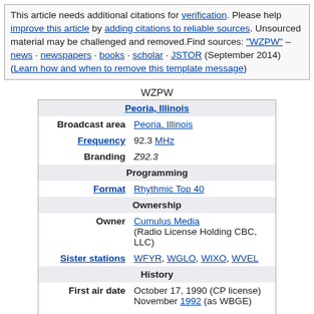This article needs additional citations for verification. Please help improve this article by adding citations to reliable sources. Unsourced material may be challenged and removed.Find sources: "WZPW" – news · newspapers · books · scholar · JSTOR (September 2014) (Learn how and when to remove this template message)
| WZPW |
| --- |
| Peoria, Illinois |
| Broadcast area | Peoria, Illinois |
| Frequency | 92.3 MHz |
| Branding | Z92.3 |
| Programming |
| Format | Rhythmic Top 40 |
| Ownership |
| Owner | Cumulus Media (Radio License Holding CBC, LLC) |
| Sister stations | WFYR, WGLO, WIXO, WVEL |
| History |
| First air date | October 17, 1990 (CP license) November 1992 (as WBGE) |
| Former call signs | WBGE (1990–2000) |